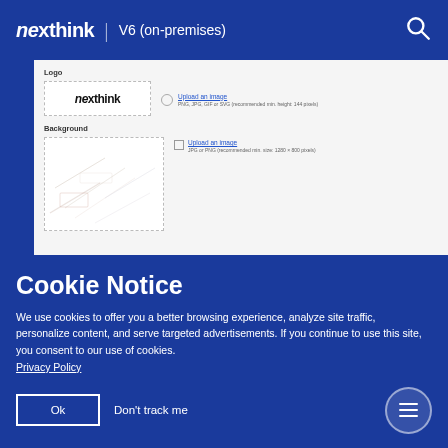nexthink | V6 (on-premises)
[Figure (screenshot): Screenshot of a web interface showing Logo and Background upload fields. The Logo section shows the Nexthink logo in a dashed box with an 'Upload an image' link and hint text 'PNG, JPG, GIF or SVG (recommended min. height: 144 pixels)'. The Background section shows a dashed box for a background image with an 'Upload an image' link and hint 'JPG or PNG (recommended min. size: 1280 × 800 pixels)'.]
Cookie Notice
We use cookies to offer you a better browsing experience, analyze site traffic, personalize content, and serve targeted advertisements. If you continue to use this site, you consent to our use of cookies.
Privacy Policy
Ok
Don't track me